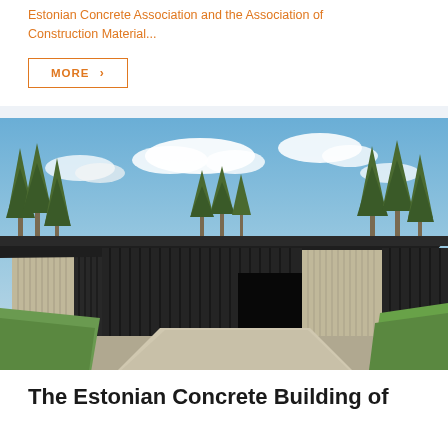Estonian Concrete Association and the Association of Construction Material...
MORE >
[Figure (photo): Modern concrete building with dark metal cladding and large overhanging flat roof, surrounded by tall pine trees, with a concrete driveway and green lawn. Blue sky with white clouds in the background.]
The Estonian Concrete Building of